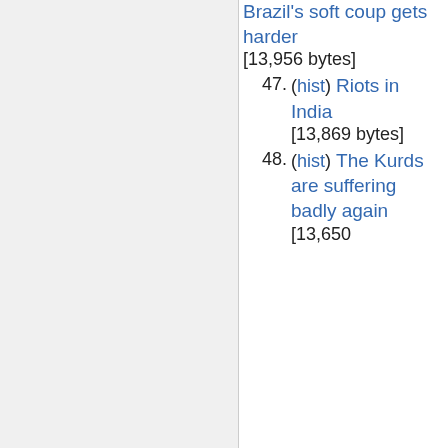Brazil's soft coup gets harder [13,956 bytes]
47. (hist) Riots in India [13,869 bytes]
48. (hist) The Kurds are suffering badly again [13,650